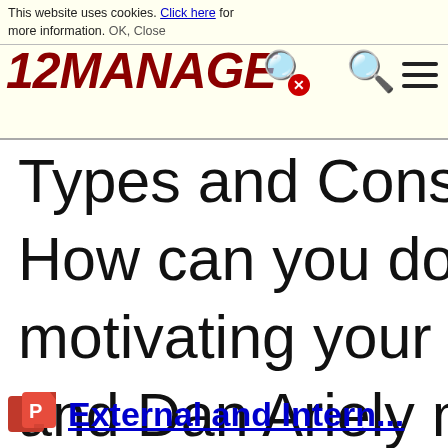This website uses cookies. Click here for more information. OK, Close
[Figure (logo): 12MANAGE logo in dark red bold italic text with hamburger menu icon and search icons]
Types and Consequences. How can you do a better job motivating your team... and Dan Ariely makes distinction between extrinsic m...
External and Intern...